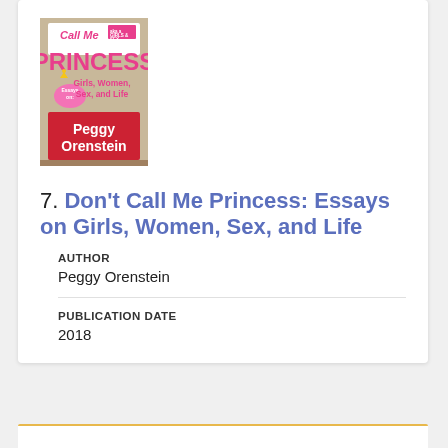[Figure (illustration): Book cover for 'Don't Call Me Princess: Essays on Girls, Women, Sex, and Life' by Peggy Orenstein. Pink and red cover with bold text.]
7. Don't Call Me Princess: Essays on Girls, Women, Sex, and Life
AUTHOR
Peggy Orenstein
PUBLICATION DATE
2018